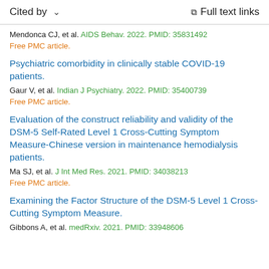Cited by   ∨   Full text links
Mendonca CJ, et al. AIDS Behav. 2022. PMID: 35831492
Free PMC article.
Psychiatric comorbidity in clinically stable COVID-19 patients.
Gaur V, et al. Indian J Psychiatry. 2022. PMID: 35400739
Free PMC article.
Evaluation of the construct reliability and validity of the DSM-5 Self-Rated Level 1 Cross-Cutting Symptom Measure-Chinese version in maintenance hemodialysis patients.
Ma SJ, et al. J Int Med Res. 2021. PMID: 34038213
Free PMC article.
Examining the Factor Structure of the DSM-5 Level 1 Cross-Cutting Symptom Measure.
Gibbons A, et al. medRxiv. 2021. PMID: 33948606